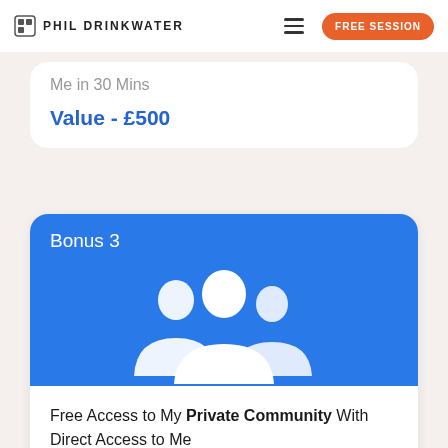PHIL DRINKWATER | FREE SESSION
Me in 30 Mins
Value - £500
Bonus 3
[Figure (illustration): White silhouette icon of three people/community members on a blue background]
Free Access to My Private Community With Direct Access to Me